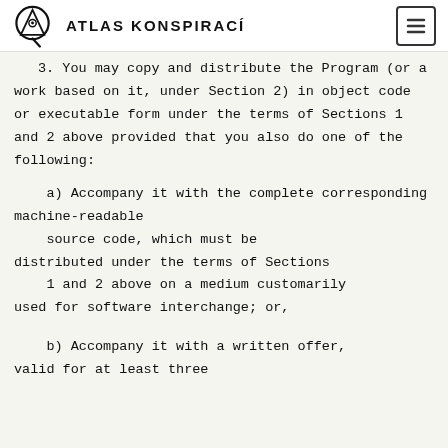ATLAS KONSPIRACÍ
3. You may copy and distribute the Program (or a work based on it, under Section 2) in object code or executable form under the terms of Sections 1 and 2 above provided that you also do one of the following:
a) Accompany it with the complete corresponding machine-readable source code, which must be distributed under the terms of Sections 1 and 2 above on a medium customarily used for software interchange; or,
b) Accompany it with a written offer, valid for at least three